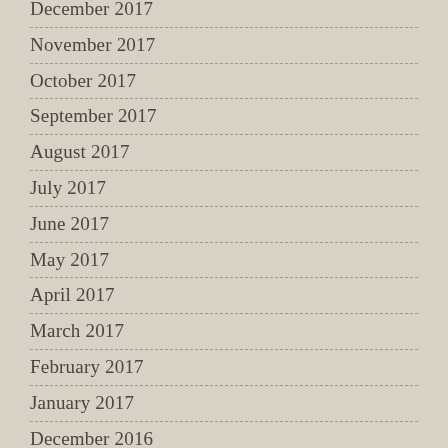December 2017
November 2017
October 2017
September 2017
August 2017
July 2017
June 2017
May 2017
April 2017
March 2017
February 2017
January 2017
December 2016
November 2016
October 2016
September 2016